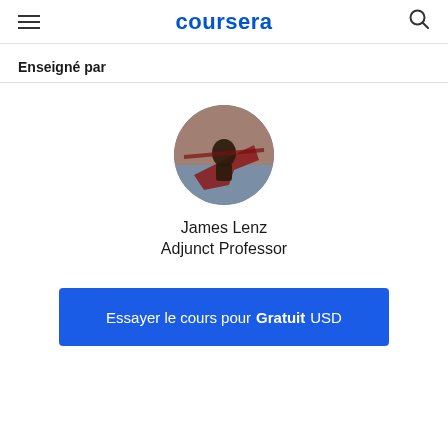coursera
Enseigné par
[Figure (photo): Circular profile photo of instructor James Lenz, showing a person in what appears to be a hang glider or ultralight aircraft with a reddish sky background.]
James Lenz
Adjunct Professor
Essayer le cours pour Gratuit USD